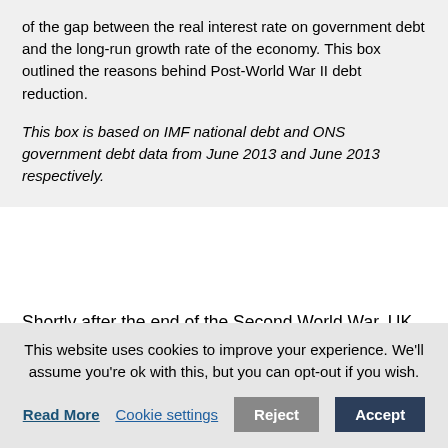of the gap between the real interest rate on government debt and the long-run growth rate of the economy. This box outlined the reasons behind Post-World War II debt reduction.
This box is based on IMF national debt and ONS government debt data from June 2013 and June 2013 respectively.
Shortly after the end of the Second World War, UK government debt peaked at around 270 per cent of GDP. Over the subsequent three decades, the debt ratio fell
This website uses cookies to improve your experience. We'll assume you're ok with this, but you can opt-out if you wish. Read More Cookie settings Reject Accept